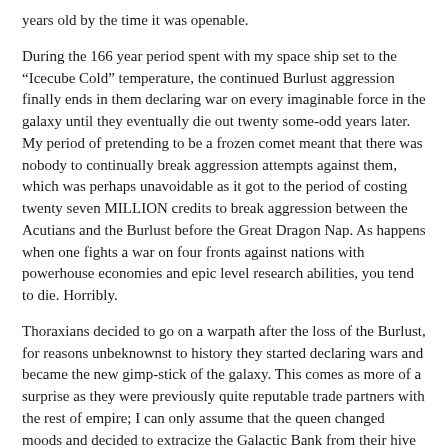years old by the time it was openable.
During the 166 year period spent with my space ship set to the “Icecube Cold” temperature, the continued Burlust aggression finally ends in them declaring war on every imaginable force in the galaxy until they eventually die out twenty some-odd years later. My period of pretending to be a frozen comet meant that there was nobody to continually break aggression attempts against them, which was perhaps unavoidable as it got to the period of costing twenty seven MILLION credits to break aggression between the Acutians and the Burlust before the Great Dragon Nap. As happens when one fights a war on four fronts against nations with powerhouse economies and epic level research abilities, you tend to die. Horribly.
Thoraxians decided to go on a warpath after the loss of the Burlust, for reasons unbeknownst to history they started declaring wars and became the new gimp-stick of the galaxy. This comes as more of a surprise as they were previously quite reputable trade partners with the rest of empire; I can only assume that the queen changed moods and decided to extracize the Galactic Bank from their hive and this lead to much aggression from the capitalist roboticists who rather love hugging money on Tuesday nights. They were the second to fall during the time of the Great Dragon Nap.